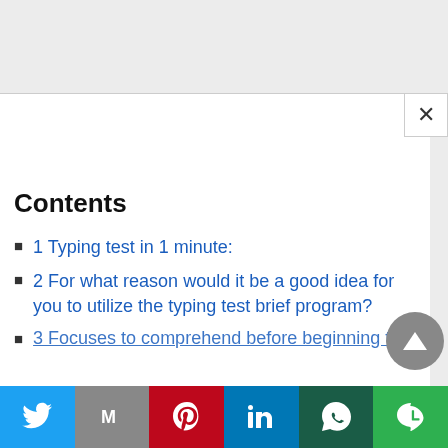Contents
1 Typing test in 1 minute:
2 For what reason would it be a good idea for you to utilize the typing test brief program?
3 Focuses to comprehend before beginning this